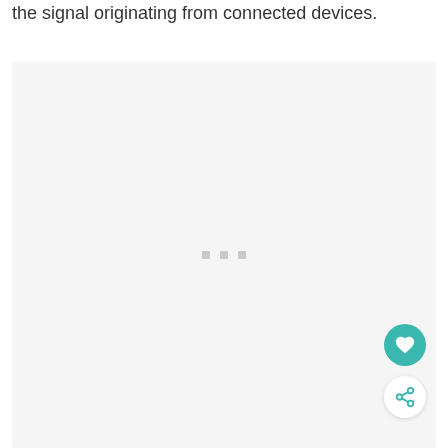the signal originating from connected devices.
[Figure (other): Large light gray placeholder rectangle with three small gray dots centered, indicating a loading or empty image area. Two floating action buttons (heart and share) are visible in the bottom-right corner.]